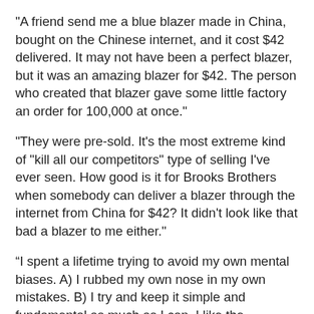"A friend send me a blue blazer made in China, bought on the Chinese internet, and it cost $42 delivered. It may not have been a perfect blazer, but it was an amazing blazer for $42. The person who created that blazer gave some little factory an order for 100,000 at once."
"They were pre-sold. It's the most extreme kind of "kill all our competitors" type of selling I've ever seen. How good is it for Brooks Brothers when somebody can deliver a blazer through the internet from China for $42? It didn't look like that bad a blazer to me either."
“I spent a lifetime trying to avoid my own mental biases. A) I rubbed my own nose in my own mistakes. B) I try and keep it simple and fundamental as much as I can. I like the engineering concept of a margin of safety. I'm a very blocking and tackling kind of a thinker."
"I just try and avoid being stupid. I have a way of handling a lot of problems. I put them on what I call my 'too-hard pile.' Then I just leave them there. I'm not trying to succeed in my